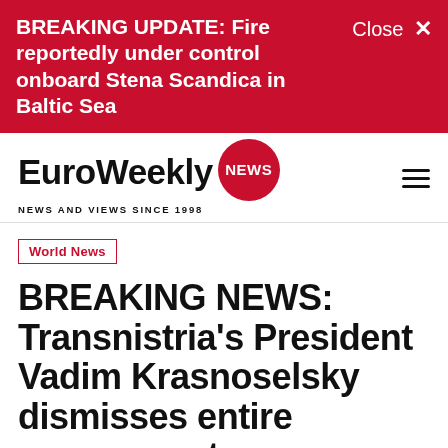BREAKING UPDATE: Fire reportedly under control onboard Stena Scandica in Baltic Sea
[Figure (logo): EuroWeekly NEWS logo — bold black text 'EuroWeekly' with red circle badge reading 'NEWS', tagline 'NEWS AND VIEWS SINCE 1998']
World News
BREAKING NEWS: Transnistria's President Vadim Krasnoselsky dismisses entire government
By Joshua Manning · 26 May 2022 · 17:26